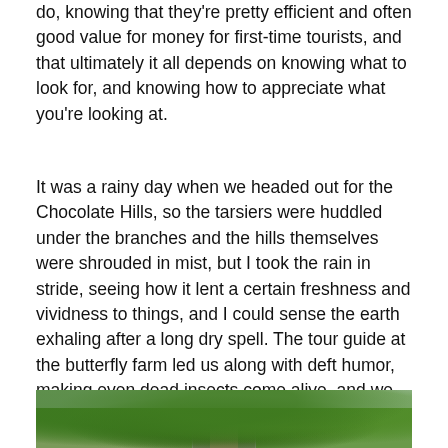do, knowing that they're pretty efficient and often good value for money for first-time tourists, and that ultimately it all depends on knowing what to look for, and knowing how to appreciate what you're looking at.
It was a rainy day when we headed out for the Chocolate Hills, so the tarsiers were huddled under the branches and the hills themselves were shrouded in mist, but I took the rain in stride, seeing how it lent a certain freshness and vividness to things, and I could sense the earth exhaling after a long dry spell. The tour guide at the butterfly farm led us along with deft humor, making even dead insects come alive, and we gamely crossed the Hanging Bridge, to and fro, like schoolkids on a dare.
[Figure (photo): Outdoor photograph showing lush green tropical forest/trees, appears to be three panels stitched together showing foliage and a tree trunk in the center, with a light sky visible at the top.]